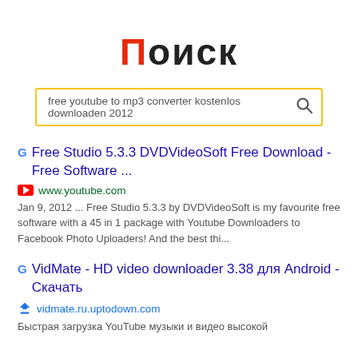Поиск
free youtube to mp3 converter kostenlos downloaden 2012
Free Studio 5.3.3 DVDVideoSoft Free Download - Free Software ...
www.youtube.com
Jan 9, 2012 ... Free Studio 5.3.3 by DVDVideoSoft is my favourite free software with a 45 in 1 package with Youtube Downloaders to Facebook Photo Uploaders! And the best thi...
VidMate - HD video downloader 3.38 для Android - Скачать
vidmate.ru.uptodown.com
Быстрая загрузка YouTube музыки и видео высокой